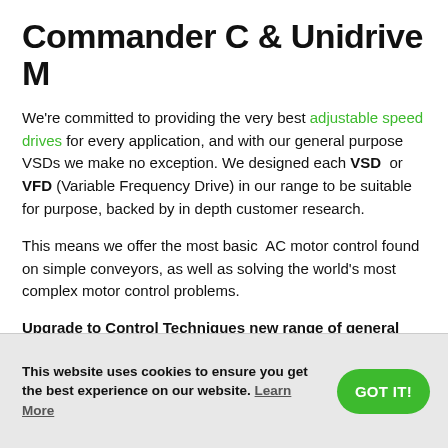Commander C & Unidrive M
We're committed to providing the very best adjustable speed drives for every application, and with our general purpose VSDs we make no exception. We designed each VSD or VFD (Variable Frequency Drive) in our range to be suitable for purpose, backed by in depth customer research.
This means we offer the most basic AC motor control found on simple conveyors, as well as solving the world's most complex motor control problems.
Upgrade to Control Techniques new range of general purpose and industrial AC variable speed drives: Commander C and Unidrive M.
This website uses cookies to ensure you get the best experience on our website. Learn More